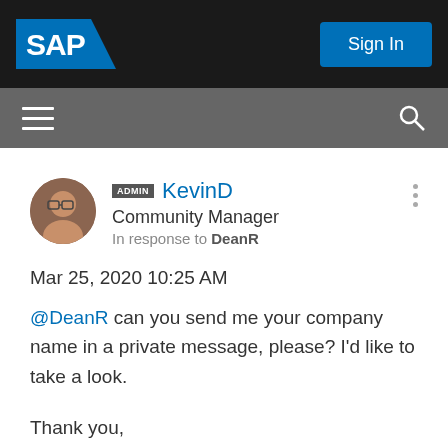SAP | Sign In
[Figure (screenshot): SAP logo (white text on blue/black background with diagonal shape) in top navigation bar]
ADMIN KevinD
Community Manager
In response to DeanR
Mar 25, 2020 10:25 AM
@DeanR can you send me your company name in a private message, please? I'd like to take a look.
Thank you,
Kevin